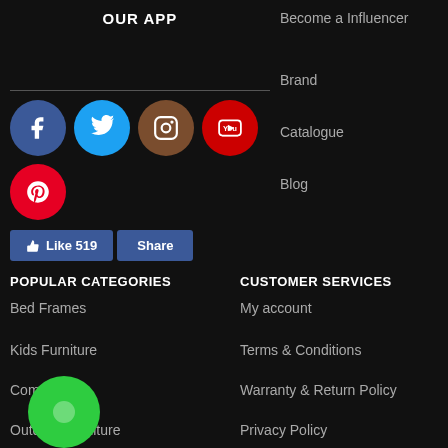OUR APP
Become a Influencer
Brand
Catalogue
Blog
[Figure (other): Social media icons: Facebook, Twitter, Instagram, YouTube, Pinterest circles, and Facebook Like 519 / Share buttons]
POPULAR CATEGORIES
CUSTOMER SERVICES
Bed Frames
My account
Kids Furniture
Terms & Conditions
Computers
Warranty & Return Policy
Outdoor Furniture
Privacy Policy